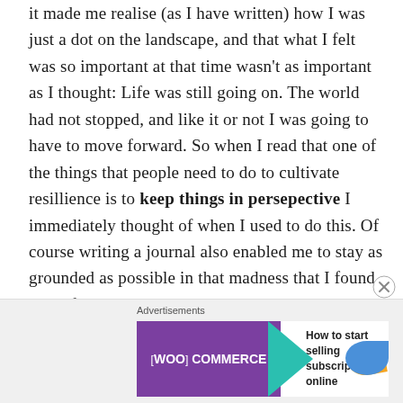it made me realise (as I have written) how I was just a dot on the landscape, and that what I felt was so important at that time wasn't as important as I thought: Life was still going on. The world had not stopped, and like it or not I was going to have to move forward. So when I read that one of the things that people need to do to cultivate resillience is to keep things in persepective I immediately thought of when I used to do this. Of course writing a journal also enabled me to stay as grounded as possible in that madness that I found myself caught up in.
[Figure (other): WooCommerce advertisement banner: purple background with WooCommerce logo and teal arrow, text 'How to start selling subscriptions online', with orange and blue decorative shapes. An 'Advertisements' label appears above and a close (X) button to the right.]